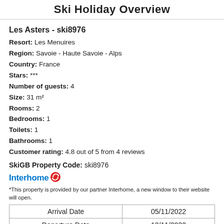Ski Holiday Overview
Les Asters - ski8976
Resort: Les Menuires
Region: Savoie - Haute Savoie - Alps
Country: France
Stars: ***
Number of guests: 4
Size: 31 m²
Rooms: 2
Bedrooms: 1
Toilets: 1
Bathrooms: 1
Customer rating: 4.8 out of 5 from 4 reviews
SkiGB Property Code: ski8976
[Figure (logo): Interhome logo with blue text and red circular arrow icon]
*This property is provided by our partner Interhome, a new window to their website will open.
| Arrival Date | 05/11/2022 |
| --- | --- |
| Departure Date | 12/11/2022 |